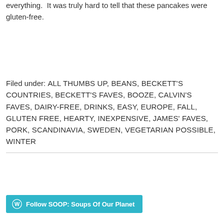everything.  It was truly hard to tell that these pancakes were gluten-free.
Filed under: ALL THUMBS UP, BEANS, BECKETT'S COUNTRIES, BECKETT'S FAVES, BOOZE, CALVIN'S FAVES, DAIRY-FREE, DRINKS, EASY, EUROPE, FALL, GLUTEN FREE, HEARTY, INEXPENSIVE, JAMES' FAVES, PORK, SCANDINAVIA, SWEDEN, VEGETARIAN POSSIBLE, WINTER
Follow SOOP: Soups Of Our Planet